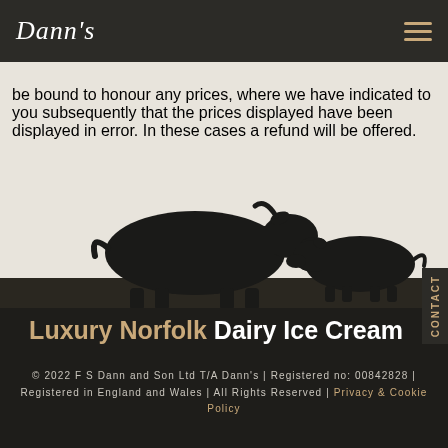Dann's
be bound to honour any prices, where we have indicated to you subsequently that the prices displayed have been displayed in error. In these cases a refund will be offered.
[Figure (illustration): Silhouette illustration of two cows (a large adult cow and a smaller calf) facing each other, in black against a light textured background]
Luxury Norfolk Dairy Ice Cream
© 2022 F S Dann and Son Ltd T/A Dann's | Registered no: 00842828 | Registered in England and Wales | All Rights Reserved | Privacy & Cookie Policy